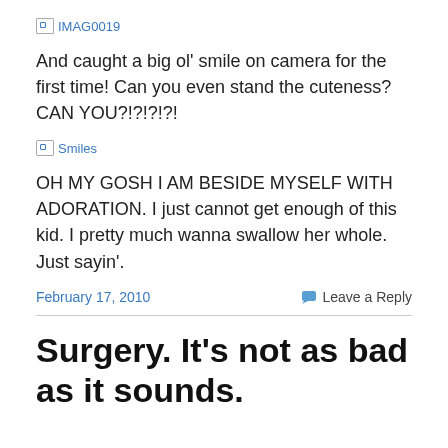[Figure (other): Broken image placeholder labeled IMAG0019]
And caught a big ol' smile on camera for the first time! Can you even stand the cuteness? CAN YOU?!?!?!?!
[Figure (other): Broken image placeholder labeled Smiles]
OH MY GOSH I AM BESIDE MYSELF WITH ADORATION. I just cannot get enough of this kid. I pretty much wanna swallow her whole. Just sayin'.
February 17, 2010   Leave a Reply
Surgery. It's not as bad as it sounds.